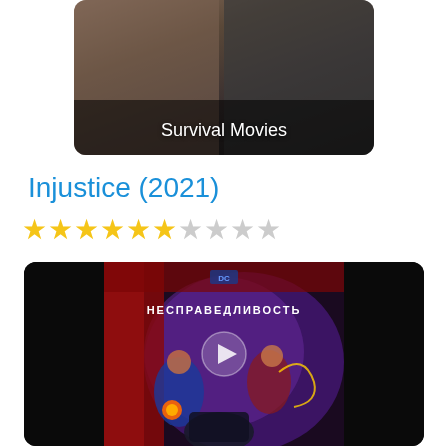[Figure (photo): Movie thumbnail card showing 'Survival Movies' category with two people visible]
Injustice (2021)
★★★★★★☆★★★ (6 out of 10 stars rating)
[Figure (screenshot): Movie video thumbnail for Injustice (2021) animated film showing DC superheroes with Russian text НЕСПРАВЕДЛИВОСТЬ and a play button overlay]